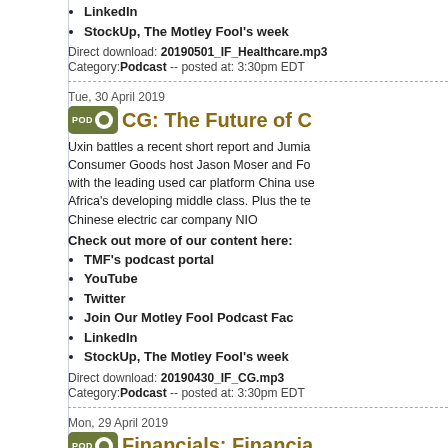LinkedIn
StockUp, The Motley Fool's week
Direct download: 20190501_IF_Healthcare.mp3
Category: Podcast -- posted at: 3:30pm EDT
Tue, 30 April 2019
CG: The Future of C
Uxin battles a recent short report and Jumia Consumer Goods host Jason Moser and Fo with the leading used car platform China use Africa's developing middle class. Plus the te Chinese electric car company NIO
Check out more of our content here:
TMF's podcast portal
YouTube
Twitter
Join Our Motley Fool Podcast Fac
LinkedIn
StockUp, The Motley Fool's week
Direct download: 20190430_IF_CG.mp3
Category: Podcast -- posted at: 3:30pm EDT
Mon, 29 April 2019
Financials: Financia
In addition to earnings season, we're also in month, so in this episode of Industry Focus: Elizabeth Overbay, Chief Operating Officer o Dustin Cohn, Head of Brand and Marketing problem of financial literacy in America and first returns result from fintecl above